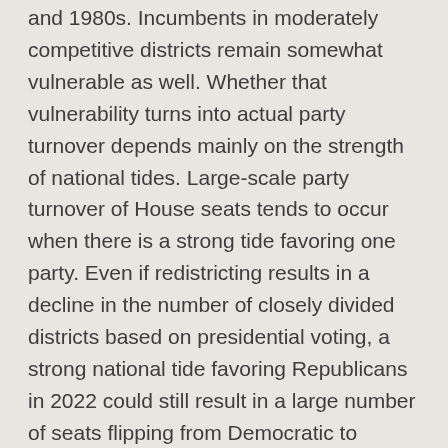and 1980s. Incumbents in moderately competitive districts remain somewhat vulnerable as well. Whether that vulnerability turns into actual party turnover depends mainly on the strength of national tides. Large-scale party turnover of House seats tends to occur when there is a strong tide favoring one party. Even if redistricting results in a decline in the number of closely divided districts based on presidential voting, a strong national tide favoring Republicans in 2022 could still result in a large number of seats flipping from Democratic to Republican control. The number of seats switching parties in 2022 and succeeding elections will depend more on the strength of national tides than the number of marginal districts.
While gerrymandering is still a force in state politics across the U.S. and Democrats have to keep at it as long as